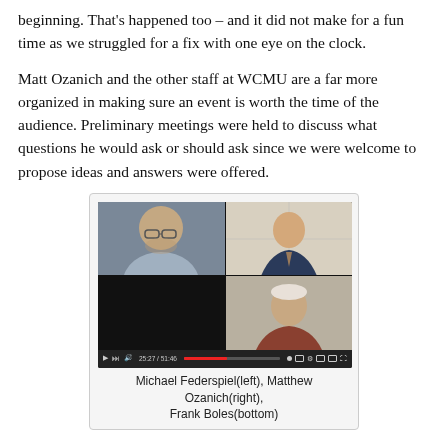beginning. That's happened too – and it did not make for a fun time as we struggled for a fix with one eye on the clock.
Matt Ozanich and the other staff at WCMU are a far more organized in making sure an event is worth the time of the audience. Preliminary meetings were held to discuss what questions he would ask or should ask since we were welcome to propose ideas and answers were offered.
[Figure (photo): Video call screenshot showing three participants in a grid layout: Michael Federspiel (top left), Matthew Ozanich (top right), Frank Boles (bottom center). A video player progress bar is visible at the bottom showing 25:27 / 51:46.]
Michael Federspiel(left), Matthew Ozanich(right), Frank Boles(bottom)
The week of the broadcast, Mike Federspiel and I sat down with Matt for a dress rehearsal. Using the software as we would for the